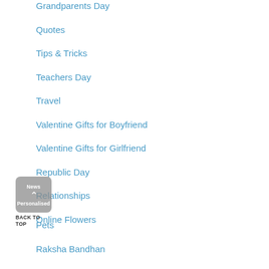Grandparents Day
Quotes
Tips & Tricks
Teachers Day
Travel
Valentine Gifts for Boyfriend
Valentine Gifts for Girlfriend
Republic Day
Relationships
Online Flowers
News
Personalised
Pets
Raksha Bandhan
Valentine Gifts for Her
Valentine Gifts for Him
Zodiac